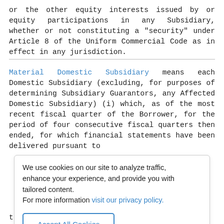or the other equity interests issued by or equity participations in any Subsidiary, whether or not constituting a "security" under Article 8 of the Uniform Commercial Code as in effect in any jurisdiction.
Material Domestic Subsidiary means each Domestic Subsidiary (excluding, for purposes of determining Subsidiary Guarantors, any Affected Domestic Subsidiary) (i) which, as of the most recent fiscal quarter of the Borrower, for the period of four consecutive fiscal quarters then ended, for which financial statements have been delivered pursuant to [text continues behind cookie overlay] that, if at any time the aggregate amount of
We use cookies on our site to analyze traffic, enhance your experience, and provide you with tailored content.
For more information visit our privacy policy.
that, if at any time the aggregate amount of